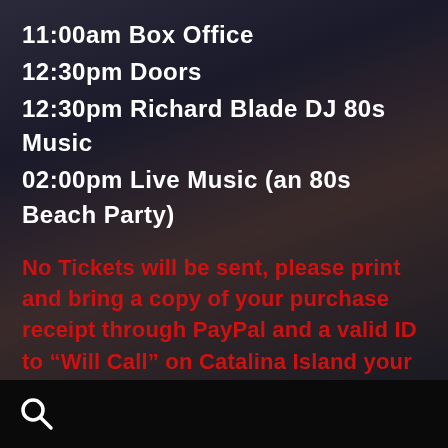11:00am Box Office
12:30pm Doors
12:30pm Richard Blade DJ 80s Music
02:00pm Live Music (an 80s Beach Party)
No Tickets will be sent, please print and bring a copy of your purchase receipt through PayPal and a valid ID to “Will Call” on Catalina Island your credentials will be waiting for you...
[Figure (other): Search icon in footer bar]